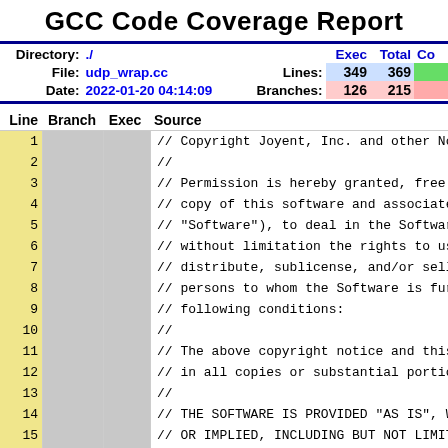GCC Code Coverage Report
| Directory: | ./ |  | Exec | Total | Co |
| --- | --- | --- | --- | --- | --- |
| File: | udp_wrap.cc | Lines: | 349 | 369 |  |
| Date: | 2022-01-20 04:14:09 | Branches: | 126 | 215 |  |
| Line | Branch | Exec | Source |
| --- | --- | --- | --- |
| 1 |  |  | // Copyright Joyent, Inc. and other Nod |
| 2 |  |  | // |
| 3 |  |  | // Permission is hereby granted, free o |
| 4 |  |  | // copy of this software and associated |
| 5 |  |  | // "Software"), to deal in the Software |
| 6 |  |  | // without limitation the rights to use |
| 7 |  |  | // distribute, sublicense, and/or sell |
| 8 |  |  | // persons to whom the Software is furn |
| 9 |  |  | // following conditions: |
| 10 |  |  | // |
| 11 |  |  | // The above copyright notice and this |
| 12 |  |  | // in all copies or substantial portion |
| 13 |  |  | // |
| 14 |  |  | // THE SOFTWARE IS PROVIDED "AS IS", WI |
| 15 |  |  | // OR IMPLIED, INCLUDING BUT NOT LIMITE |
| 16 |  |  | // MERCHANTABILITY, FITNESS FOR A PARTI |
| 17 |  |  | // NO EVENT SHALL THE AUTHORS OR COPYRI |